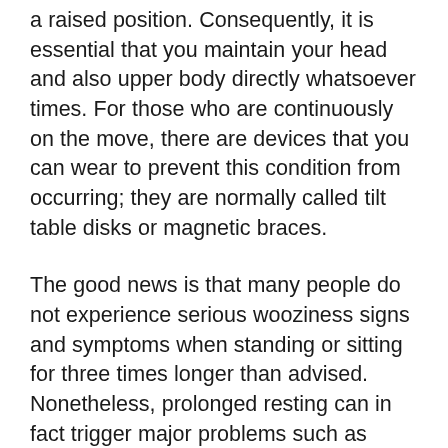a raised position. Consequently, it is essential that you maintain your head and also upper body directly whatsoever times. For those who are continuously on the move, there are devices that you can wear to prevent this condition from occurring; they are normally called tilt table disks or magnetic braces.
The good news is that many people do not experience serious wooziness signs and symptoms when standing or sitting for three times longer than advised. Nonetheless, prolonged resting can in fact trigger major problems such as repetitive strain injury, weakness of the jaw muscle mass, and also damages to the inner ear. The most effective thing that you can do is to take your time